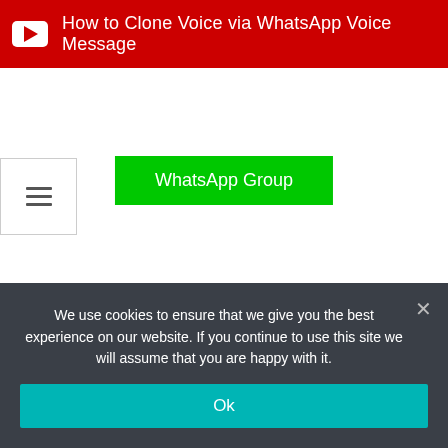[Figure (screenshot): YouTube red banner with YouTube icon and text: How to Clone Voice via WhatsApp Voice Message]
How to Clone Voice via WhatsApp Voice Message
WhatsApp Group
[Figure (other): Hamburger menu icon (three horizontal lines) in a bordered box]
We use cookies to ensure that we give you the best experience on our website. If you continue to use this site we will assume that you are happy with it.
Ok